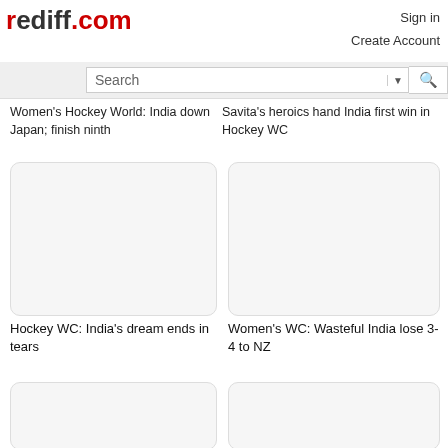rediff.com — Sign in, Create Account
Search
Women's Hockey World: India down Japan; finish ninth
Savita's heroics hand India first win in Hockey WC
[Figure (photo): Placeholder image card for Hockey WC article]
[Figure (photo): Placeholder image card for Women's WC article]
Hockey WC: India's dream ends in tears
Women's WC: Wasteful India lose 3-4 to NZ
[Figure (photo): Placeholder image card (partially visible)]
[Figure (photo): Placeholder image card (partially visible)]